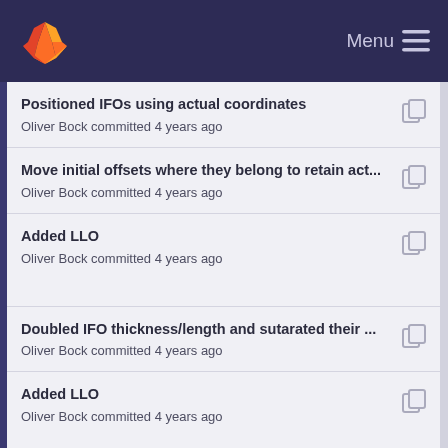GitLab — Menu
Positioned IFOs using actual coordinates
Oliver Bock committed 4 years ago
Move initial offsets where they belong to retain act...
Oliver Bock committed 4 years ago
Added LLO
Oliver Bock committed 4 years ago
Doubled IFO thickness/length and sutarated their ...
Oliver Bock committed 4 years ago
Added LLO
Oliver Bock committed 4 years ago